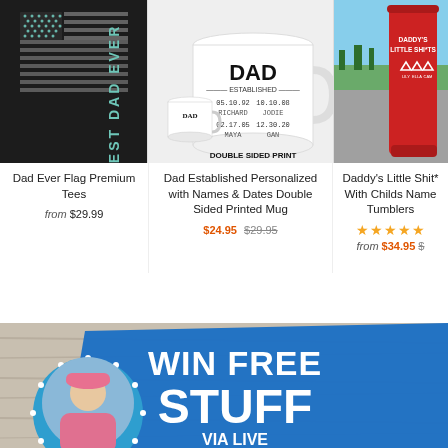[Figure (photo): Product listing grid with three items: (1) Best Dad Ever Flag Premium Tee on black shirt, (2) Dad Established Personalized Mug with double sided print, (3) Daddy's Little Shit* tumbler in red]
Dad Ever Flag Premium Tees
from $29.99
Dad Established Personalized with Names & Dates Double Sided Printed Mug
$24.95 $29.95
Daddy's Little Shit* With Childs Name Tumblers
★★★★★
from $34.95 $
[Figure (photo): Win Free Stuff promotional banner with woman in pink hat inside circular frame, blue banner overlay with text WIN FREE STUFF and VIA LIVE text at bottom]